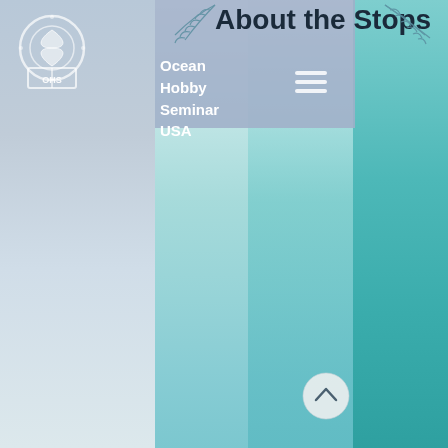[Figure (screenshot): Ocean Hobby Seminar USA website screenshot showing 'About the Stops' page header with teal ocean water background, OHS logo top-left, decorative leaf illustrations, hamburger menu icon, navigation text, and scroll-to-top circular button.]
About the Stops
Ocean
Hobby
Seminar
USA